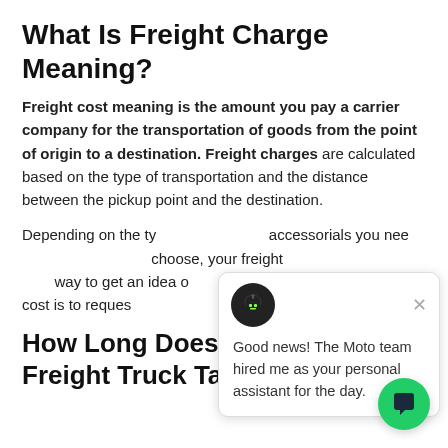What Is Freight Charge Meaning?
Freight cost meaning is the amount you pay a carrier company for the transportation of goods from the point of origin to a destination. Freight charges are calculated based on the type of transportation and the distance between the pickup point and the destination.
Depending on the type of freight and accessorials you need and the carrier you choose, your freight costs will vary. The best way to get an idea of what your freight shipment will cost is to request a quote from your transportation provider.
[Figure (screenshot): Chat popup widget from Moto team AI assistant with robot avatar, showing message: 'Good news! The Moto team hired me as your personal assistant for the day.' with a close button and a green chat button in the bottom right.]
How Long Does Shipping by Freight Truck Take?